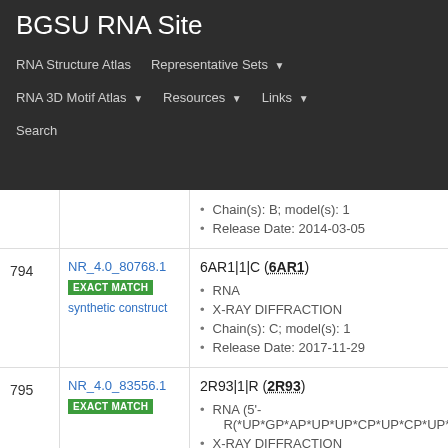BGSU RNA Site
RNA Structure Atlas | Representative Sets | RNA 3D Motif Atlas | Resources | Links | Search
| # | ID | Details |
| --- | --- | --- |
|  |  | Chain(s): B; model(s): 1
Release Date: 2014-03-05 |
| 794 | NR_4.0_80768.1 EXACT MATCH synthetic construct | 6AR1|1|C (6AR1)
RNA
X-RAY DIFFRACTION
Chain(s): C; model(s): 1
Release Date: 2017-11-29 |
| 795 | NR_4.0_83556.1 EXACT MATCH | 2R93|1|R (2R93)
RNA (5'-R(*UP*GP*AP*UP*UP*CP*UP*CP*UP*A
X-RAY DIFFRACTION
Chain(s): R; model(s): 1
Release Date: 2007-11-27 |